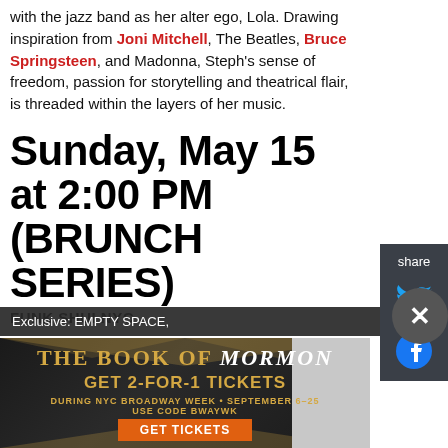with the jazz band as her alter ego, Lola. Drawing inspiration from Joni Mitchell, The Beatles, Bruce Springsteen, and Madonna, Steph's sense of freedom, passion for storytelling and theatrical flair, is threaded within the layers of her music.
Sunday, May 15 at 2:00 PM (BRUNCH SERIES)
FUNK SHUI NYC
"Funk Shui NYC represents the future of big-band jazz," says All About Jazz. Funk Shui NYC is a thirteen-member, horn-heavy jazz collective playing
Exclusive: EMPTY SPACE,
[Figure (infographic): Advertisement for The Book of Mormon musical. Gold starburst design on dark background. Text: THE BOOK OF MORMON - GET 2-FOR-1 TICKETS DURING NYC BROADWAY WEEK • SEPTEMBER 6–25 USE CODE BWAYWK - GET TICKETS (orange button)]
[Figure (infographic): Share sidebar with Twitter and Facebook icons on dark grey background, labeled 'share']